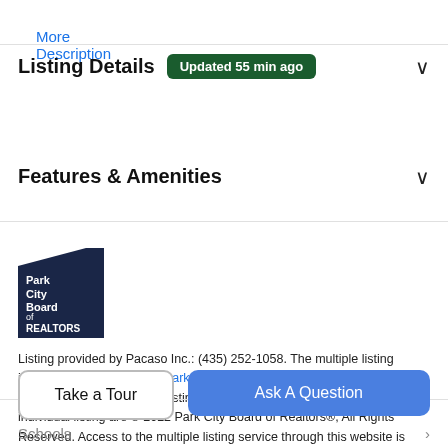More Description
Listing Details Updated 55 min ago
Features & Amenities
[Figure (logo): Park City Board of Realtors logo — dark navy pentagon/flag shape with white text reading Park City Board of REALTORS]
Listing provided by Pacaso Inc.: (435) 252-1058. The multiple listing information is provided by Park City Board of Realtors® from a copyrighted compilation of listings. The compilation of listings and each individual listing are © 2022 Park City Board of Realtors®, All Rights Reserved. Access to the multiple listing service through this website is made available by High Country Properties as a member of the Park City Board of Realtors®
Take a Tour
Ask A Question
Schools